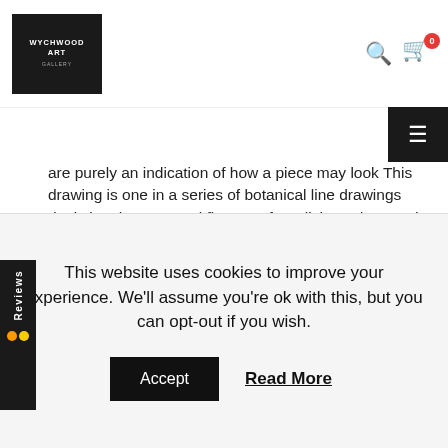[Figure (logo): Wychwood Art Gallery logo — white text on black square background]
[Figure (screenshot): Search icon, cart icon with badge showing 0, hamburger menu button]
[Figure (screenshot): Feefo Reviews sidebar widget with orange and yellow dots]
are purely an indication of how a piece may look This drawing is one in a series of botanical line drawings depicting the seasonal flowers of English gardens and the countryside. Iris 4 [2021] original Coloured pencil on 150gsm paper Image size: H:30 cm x W:20 cm Complete Size of Unframed Work: H:30 cm x W:20 cm x D:0.01cm Sold Unframed Please note that insitu images are purely an indication of how a piece may look This drawing is one in a series of botanical line drawings depicting the seasonal flowers of English gardens and the countryside. Iris 5 [2021] original Coloured pencil 150gsm paper Image size: H:30 cm x W:20 cm Complete Size of Framed Work: H:30 cm x W:20 cm x D:0.01cm Sold Unframed Please note that insitu images are purely an indication of how a piece may look This drawing is one in a series of botanical line
This website uses cookies to improve your experience. We'll assume you're ok with this, but you can opt-out if you wish.
Accept
Read More